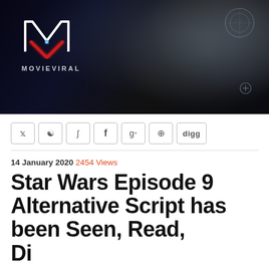[Figure (photo): MovieViral website banner/header image showing a woman in blue hair and red glove holding a cigar with smoke swirling around her, with the MovieViral logo (stylized M with red chevron) in the lower left corner on a dark background.]
y ↺ ∫ f g+ ⊕ digg (social share buttons)
14 January 2020 2454 Views
Star Wars Episode 9 Alternative Script has been Seen, Read, Discussed by Fi...